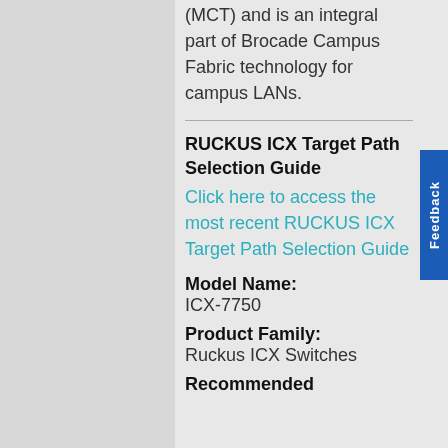(MCT) and is an integral part of Brocade Campus Fabric technology for campus LANs.
RUCKUS ICX Target Path Selection Guide
Click here to access the most recent RUCKUS ICX Target Path Selection Guide
Model Name: ICX-7750
Product Family: Ruckus ICX Switches
Recommended